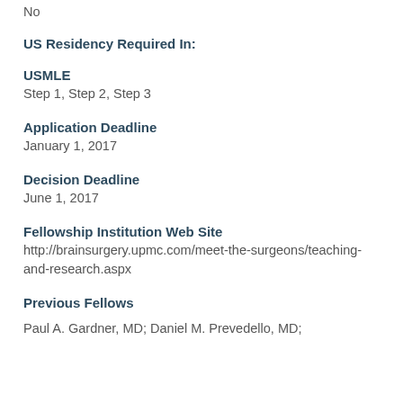No
US Residency Required In:
USMLE
Step 1, Step 2, Step 3
Application Deadline
January 1, 2017
Decision Deadline
June 1, 2017
Fellowship Institution Web Site
http://brainsurgery.upmc.com/meet-the-surgeons/teaching-and-research.aspx
Previous Fellows
Paul A. Gardner, MD; Daniel M. Prevedello, MD;